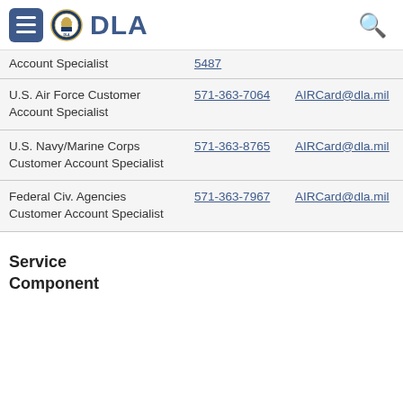DLA
| Role | Phone | Email |
| --- | --- | --- |
| Account Specialist | 5487 |  |
| U.S. Air Force Customer Account Specialist | 571-363-7064 | AIRCard@dla.mil |
| U.S. Navy/Marine Corps Customer Account Specialist | 571-363-8765 | AIRCard@dla.mil |
| Federal Civ. Agencies Customer Account Specialist | 571-363-7967 | AIRCard@dla.mil |
Service
Component